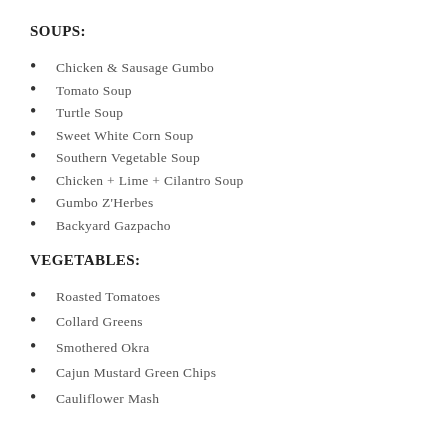SOUPS:
Chicken & Sausage Gumbo
Tomato Soup
Turtle Soup
Sweet White Corn Soup
Southern Vegetable Soup
Chicken + Lime + Cilantro Soup
Gumbo Z'Herbes
Backyard Gazpacho
VEGETABLES:
Roasted Tomatoes
Collard Greens
Smothered Okra
Cajun Mustard Green Chips
Cauliflower Mash